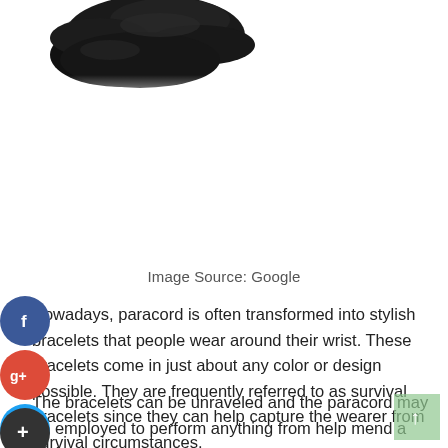[Figure (photo): Dark colored paracord or beads/cord coiled, partially visible at top left corner of the page]
Image Source: Google
Nowadays, paracord is often transformed into stylish bracelets that people wear around their wrist. These bracelets come in just about any color or design possible. They are frequently referred to as survival bracelets since they can help capture the wearer from survival circumstances.
The bracelets can be unraveled and the paracord may be employed to perform anything from help mend a broken